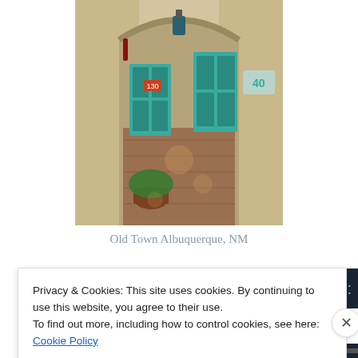[Figure (photo): Photo of an adobe-style building entrance in Old Town Albuquerque, NM. An arched doorway with teal/turquoise painted wooden doors and windows. Potted plants on a brick courtyard. A sign reading '40' is partially visible on the right wall.]
Old Town Albuquerque, NM
[Figure (screenshot): Dark navy banner with a logo reading 'l'HUVYo' in teal letters, flanked by dotted decorative elements in teal.]
Privacy & Cookies: This site uses cookies. By continuing to use this website, you agree to their use.
To find out more, including how to control cookies, see here: Cookie Policy
[Figure (screenshot): Bottom dark bar with red, black, and gray segments and small text.]